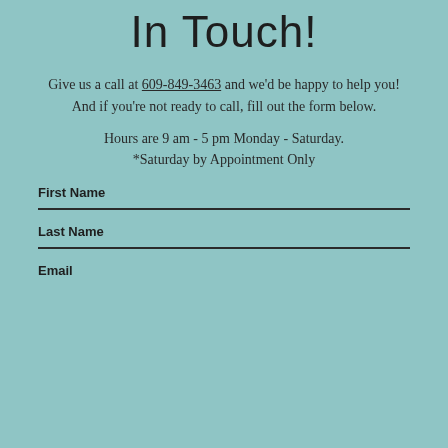In Touch!
Give us a call at 609-849-3463 and we'd be happy to help you! And if you're not ready to call, fill out the form below.
Hours are 9 am - 5 pm Monday - Saturday. *Saturday by Appointment Only
First Name
Last Name
Email